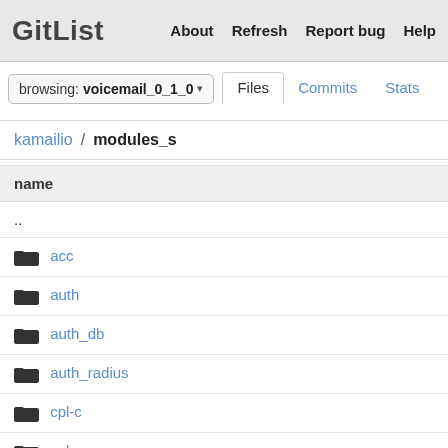GitList  About  Refresh  Report bug  Help
browsing: voicemail_0_1_0  Files  Commits  Stats  Network
kamailio / modules_s
| name |
| --- |
| .. |
| acc |
| auth |
| auth_db |
| auth_radius |
| cpl-c |
| cpl |